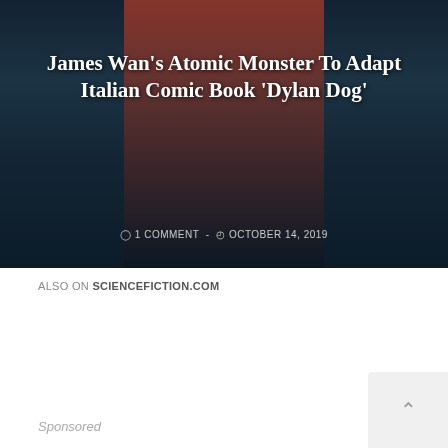[Figure (photo): Hero image with dark moody background showing a figure in a red shirt and dark coat, with city skyline silhouette. Text overlay: James Wan's Atomic Monster To Adapt Italian Comic Book 'Dylan Dog'. Meta: 1 COMMENT - OCTOBER 14, 2019]
ALSO ON SCIENCEFICTION.COM
[Figure (screenshot): Card carousel with previous arrow, two article cards: 'Movie Review: Wonder Woman 1984' (years ago • 4 comments) and 'Exclusive Clip From ...' (2 years ago • 5 comments), and next arrow]
Sponsored